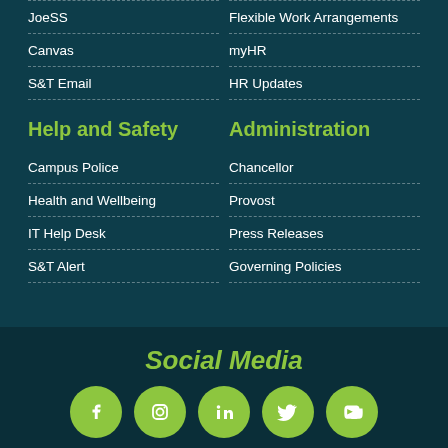JoeSS
Flexible Work Arrangements
Canvas
myHR
S&T Email
HR Updates
Help and Safety
Administration
Campus Police
Chancellor
Health and Wellbeing
Provost
IT Help Desk
Press Releases
S&T Alert
Governing Policies
Social Media
[Figure (illustration): Social media icons: Facebook, Instagram, LinkedIn, Twitter, YouTube — white icons on green circles]